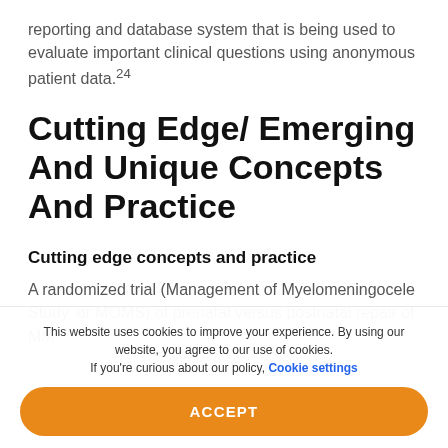reporting and database system that is being used to evaluate important clinical questions using anonymous patient data.24
Cutting Edge/ Emerging And Unique Concepts And Practice
Cutting edge concepts and practice
A randomized trial (Management of Myelomeningocele Study, or MOMS) of prenatal versus postnatal repair of MM